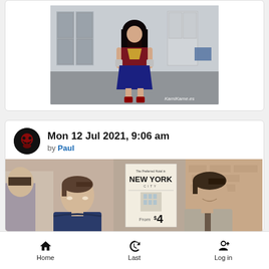[Figure (photo): Person in a superhero cosplay costume standing in a room with lockers. Watermark reads KamiKame.es]
[Figure (photo): Post header with avatar and metadata: Mon 12 Jul 2021, 9:06 am by Paul]
Mon 12 Jul 2021, 9:06 am
by Paul
[Figure (screenshot): Scene from a TV show or movie showing two men near a New York City hotel poster showing $4 rate]
Home  Last  Log in